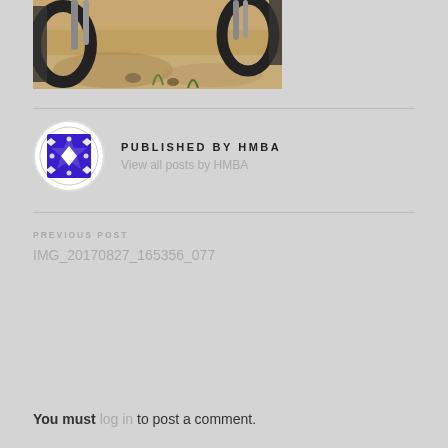[Figure (photo): Partial view of a mountain bike wheel/front fork on a dusty dirt trail with rocks and sparse vegetation]
PUBLISHED BY HMBA
View all posts by HMBA
PREVIOUS POST
IMG_20170827_165356_077
You must log in to post a comment.